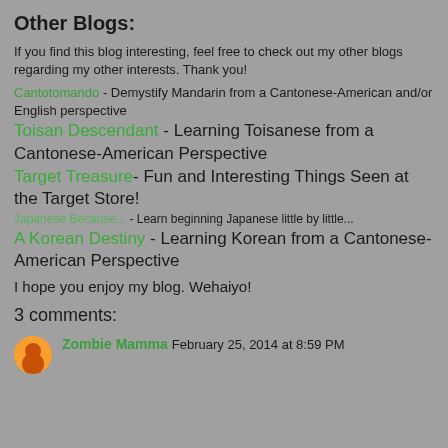Other Blogs:
If you find this blog interesting, feel free to check out my other blogs regarding my other interests. Thank you!
Cantotomando - Demystify Mandarin from a Cantonese-American and/or English perspective
Toisan Descendant - Learning Toisanese from a Cantonese-American Perspective
Target Treasure- Fun and Interesting Things Seen at the Target Store!
Japanese Because... - Learn beginning Japanese little by little...
A Korean Destiny - Learning Korean from a Cantonese-American Perspective
I hope you enjoy my blog. Wehaiyo!
3 comments:
Zombie Mamma  February 25, 2014 at 8:59 PM